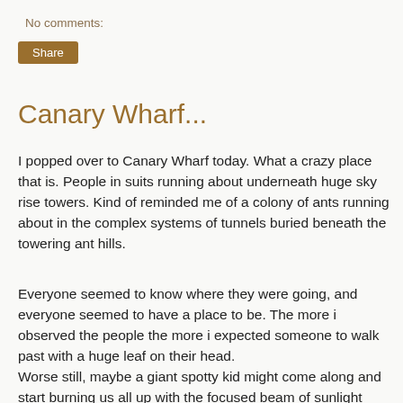No comments:
Share
Canary Wharf...
I popped over to Canary Wharf today. What a crazy place that is. People in suits running about underneath huge sky rise towers. Kind of reminded me of a colony of ants running about in the complex systems of tunnels buried beneath the towering ant hills.
Everyone seemed to know where they were going, and everyone seemed to have a place to be. The more i observed the people the more i expected someone to walk past with a huge leaf on their head.
Worse still, maybe a giant spotty kid might come along and start burning us all up with the focused beam of sunlight from his equally giant magnifying glass??  Thankfully the giant kid must have had better things to be doing with his time as i didn't whiteness any city workers busting into flames